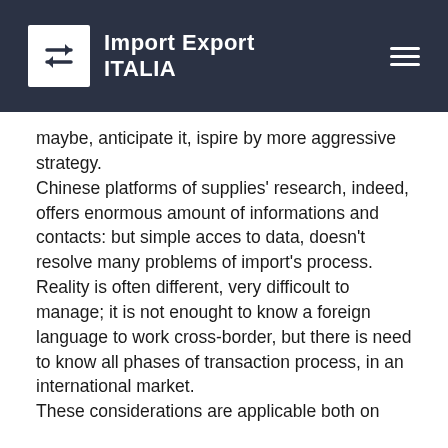Import Export ITALIA
maybe, anticipate it, ispire by more aggressive strategy.
Chinese platforms of supplies' research, indeed, offers enormous amount of informations and contacts: but simple acces to data, doesn't resolve many problems of import's process.
Reality is often different, very difficoult to manage; it is not enought to know a foreign language to work cross-border, but there is need to know all phases of transaction process, in an international market.
These considerations are applicable both on